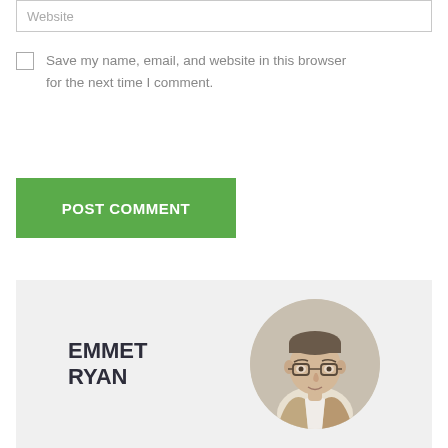Website
Save my name, email, and website in this browser for the next time I comment.
POST COMMENT
EMMET RYAN
[Figure (photo): Circular portrait photo of Emmet Ryan, a man wearing glasses and a tan/beige blazer over a white shirt]